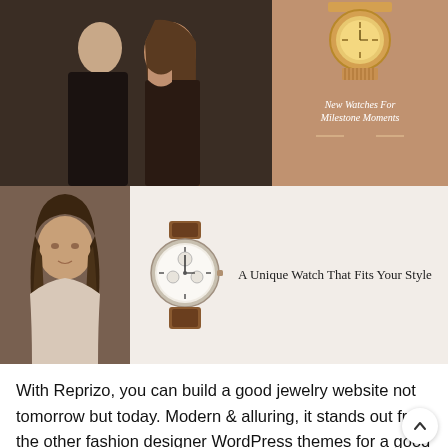[Figure (photo): Top banner with two sections: left shows a couple (man and woman) in dark clothing in a close pose against a dark background; right shows a warm brown/tan banner with a gold watch image at top and text 'New Watches For Milestone Moments' in white italic serif font]
[Figure (photo): Second row with three sections: left shows a portrait of a young woman with brown hair against a gray background; center shows a detailed analog watch with a brown leather strap and white face with chronograph subdials; right shows text 'A Unique Watch That Fits Your Style' on a light beige background]
With Reprizo, you can build a good jewelry website not tomorrow but today. Modern & alluring, it stands out from the other fashion designer WordPress themes for a good reason. Elementor page builder takes all the glory. It enables you to do the jewelry website development on your own. And what's more, it requires no coding skills. Thus, Reprizo comes with five beautiful homepage design concepts